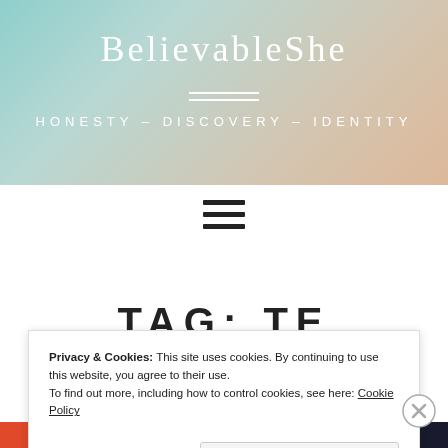BelievableShe
HONESTY – DISCOVERY – IDENTITY
[Figure (other): Hamburger menu icon (three horizontal black lines)]
TAG: TE FISTULA
Privacy & Cookies: This site uses cookies. By continuing to use this website, you agree to their use. To find out more, including how to control cookies, see here: Cookie Policy
Close and accept